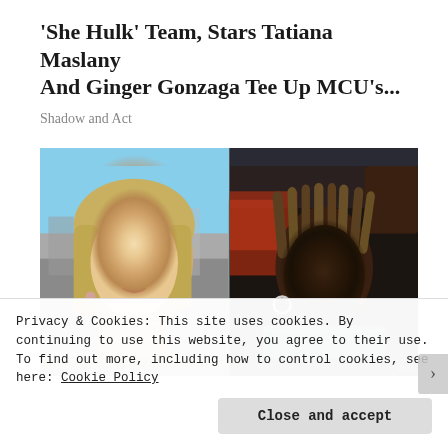'She Hulk' Team, Stars Tatiana Maslany And Ginger Gonzaga Tee Up MCU's...
Shadow and Act
[Figure (photo): Side-by-side still frames from 'She Hulk': left shows a blonde woman in profile (Tatiana Maslany), right shows a woman with dreadlocks (Ginger Gonzaga) in a teal outfit.]
Privacy & Cookies: This site uses cookies. By continuing to use this website, you agree to their use.
To find out more, including how to control cookies, see here: Cookie Policy
Close and accept